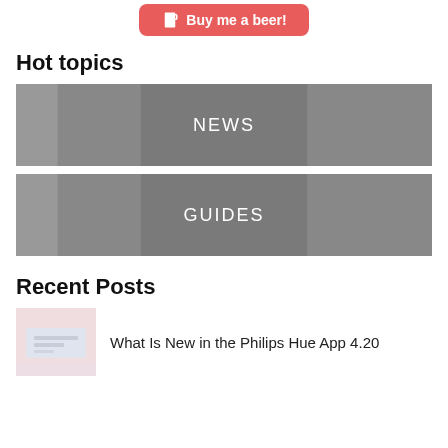[Figure (other): Buy me a beer button — red rounded button with beer icon and text 'Buy me a beer!']
Hot topics
[Figure (other): Dark grey banner with white text 'NEWS']
[Figure (other): Dark grey banner with white text 'GUIDES']
Recent Posts
[Figure (photo): Small thumbnail image showing a room with Philips Hue lighting setup]
What Is New in the Philips Hue App 4.20